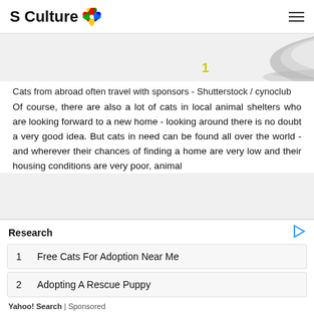S Culture
[Figure (photo): Partial image of a cat food bowl with orange pieces, shown cropped at the top of the content area]
Cats from abroad often travel with sponsors - Shutterstock / cynoclub
Of course, there are also a lot of cats in local animal shelters who are looking forward to a new home - looking around there is no doubt a very good idea. But cats in need can be found all over the world - and wherever their chances of finding a home are very low and their housing conditions are very poor, animal
Research
1 Free Cats For Adoption Near Me
2 Adopting A Rescue Puppy
Yahoo! Search | Sponsored